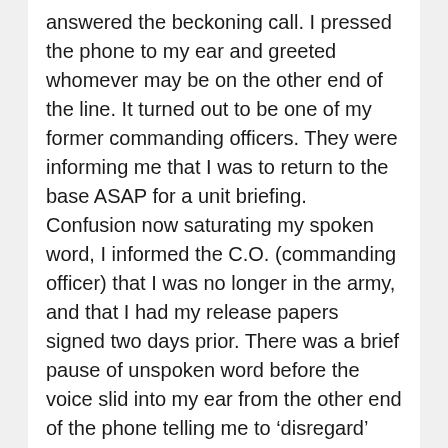answered the beckoning call. I pressed the phone to my ear and greeted whomever may be on the other end of the line. It turned out to be one of my former commanding officers. They were informing me that I was to return to the base ASAP for a unit briefing. Confusion now saturating my spoken word, I informed the C.O. (commanding officer) that I was no longer in the army, and that I had my release papers signed two days prior. There was a brief pause of unspoken word before the voice slid into my ear from the other end of the phone telling me to ‘disregard’ their last, meaning not to worry about coming into the base and forget what they had said. Without even saying goodbye, the line went dead.
This unnerved me because it felt as though the C.O. was using an outdated call-list to bring everyone